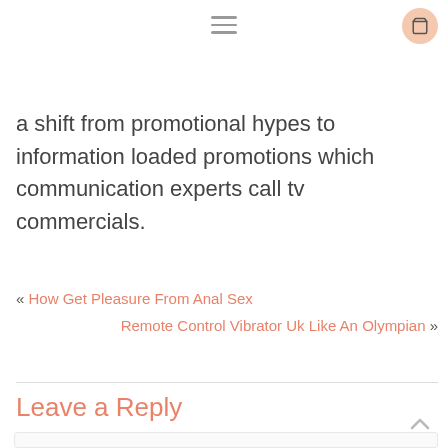≡ [hamburger menu] [cart icon]
a shift from promotional hypes to information loaded promotions which communication experts call tv commercials.
« How Get Pleasure From Anal Sex
Remote Control Vibrator Uk Like An Olympian »
Leave a Reply
Your email address will not be published. Required fields are marked *